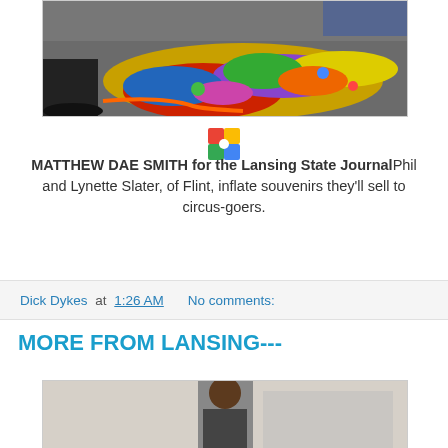[Figure (photo): A pile of colorful inflatable circus souvenirs on a floor, with feet visible and an orange cord]
[Figure (logo): Small colorful logo icon (appears to be a photo/image sharing service icon)]
MATTHEW DAE SMITH for the Lansing State JournalPhil and Lynette Slater, of Flint, inflate souvenirs they'll sell to circus-goers.
Dick Dykes at 1:26 AM   No comments:
MORE FROM LANSING---
[Figure (photo): A person standing indoors, partially visible, bottom portion of image]